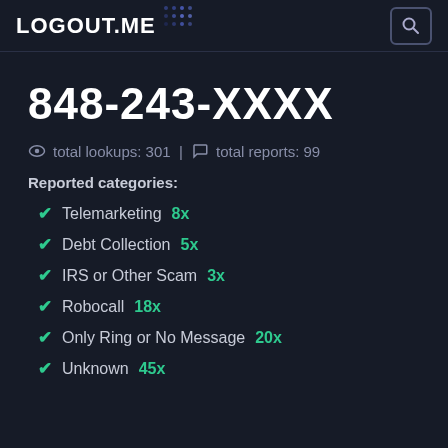LOGOUT.ME
848-243-XXXX
total lookups: 301 | total reports: 99
Reported categories:
Telemarketing 8x
Debt Collection 5x
IRS or Other Scam 3x
Robocall 18x
Only Ring or No Message 20x
Unknown 45x